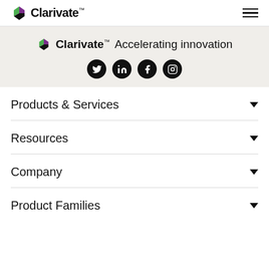Clarivate™ [logo] [hamburger menu]
[Figure (logo): Clarivate logo with tagline 'Accelerating innovation' and social media icons (Twitter, LinkedIn, Facebook, Instagram) on a light grey background]
Products & Services ▼
Resources ▼
Company ▼
Product Families ▼